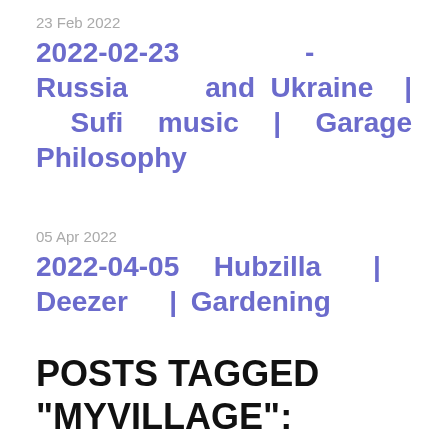23 Feb 2022
2022-02-23  -  Russia  and Ukraine | Sufi music | Garage Philosophy
05 Apr 2022
2022-04-05 Hubzilla | Deezer | Gardening
POSTS TAGGED "MYVILLAGE":